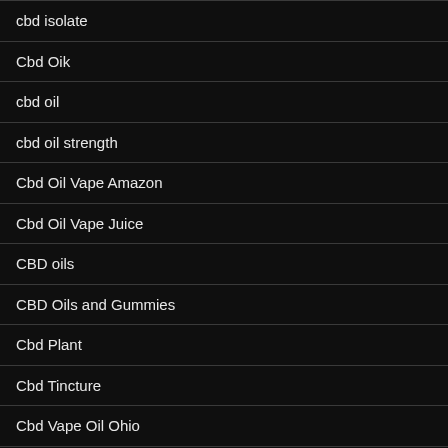cbd isolate
Cbd Oik
cbd oil
cbd oil strength
Cbd Oil Vape Amazon
Cbd Oil Vape Juice
CBD oils
CBD Oils and Gummies
Cbd Plant
Cbd Tincture
Cbd Vape Oil Ohio
Cbdoildiscount Review